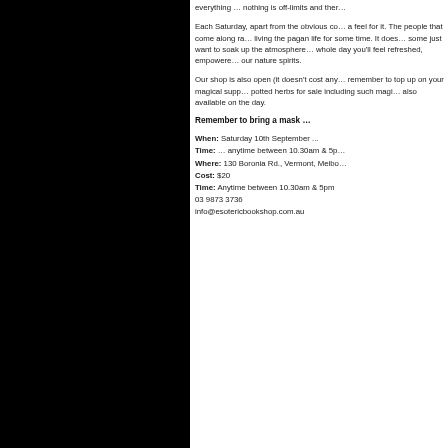everything … nothing is off-limits and ther…
Each Saturday, apart from the obvious co… a feel for it. The people that come along ra… living the pagan life for some time. It does… some just want to soak up the atmosphere… whole day you'll feel refreshed, empowere… our nature spirits.
Our shop is also open (it doesn't cost any… remember to top up on your magical supp… potted herbs for sale including such magi… also available on the day.
Remember to bring a mask …
When: Saturday 10th September ...
Time: … anytime between 10.30am & 5p…
Where: 130 Boronia Rd., Vermont, Melbo…
Cost: $20
Time: Anytime between 10.30am & 5pm
03 9873 3736
info@esotericbookshop.com.au